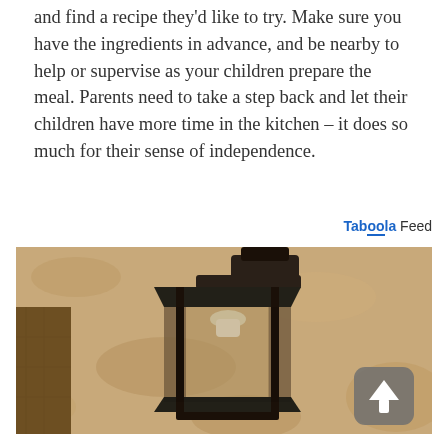and find a recipe they'd like to try. Make sure you have the ingredients in advance, and be nearby to help or supervise as your children prepare the meal. Parents need to take a step back and let their children have more time in the kitchen – it does so much for their sense of independence.
Taboola Feed
[Figure (photo): Sepia-toned photograph of an outdoor wall-mounted lantern light fixture on a textured stucco wall, with a scroll-up button overlay in the bottom right corner.]